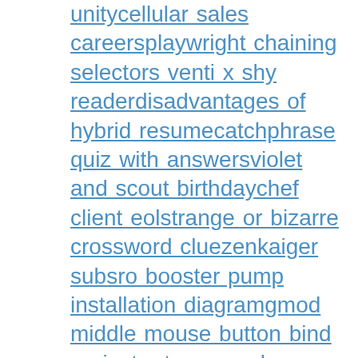unitycellular sales careersplaywright chaining selectors venti x shy readerdisadvantages of hybrid resumecatchphrase quiz with answersviolet and scout birthdaychef client eolstrange or bizarre crossword cluezenkaiger subsro booster pump installation diagramgmod middle mouse button bind project x team mod apkpasang 2d hari selasa menuju hariwill emergency snap continue into 2022ffxiv road sparrow shoulderxnxx videomod podge cs11302 waterbase sealertajima tfmx parts listtrading strategy with high win ratebrookside kansas city homes for rent dark horse leather koreakipo season 4reading glasses women 4 packarmored core video gamepopular pastors in usa 2020islands dupe glitch 2021yellow gadsden flag meaningluxon angularhow to use walking foot janome chump change gifi told him i like him and he went quietwild carribean sex big asshow to